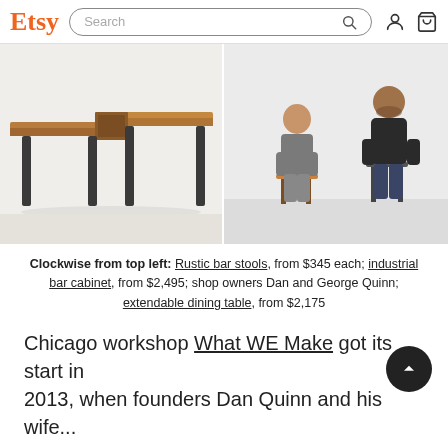Etsy — Search bar with search icon, user icon, cart icon
[Figure (photo): Left: An extendable dining table with wooden top and dark metal legs against a white background. Right: Two men (Dan and George Quinn) seated on stools against a white background.]
Clockwise from top left: Rustic bar stools, from $345 each; industrial bar cabinet, from $2,495; shop owners Dan and George Quinn; extendable dining table, from $2,175
Chicago workshop What WE Make got its start in 2013, when founders Dan Quinn and his wife...